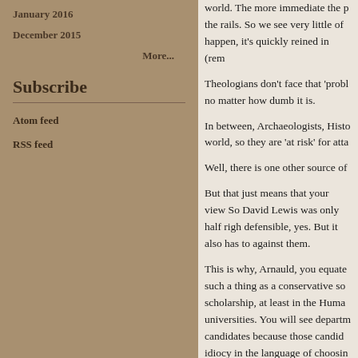January 2016
December 2015
More...
Subscribe
Atom feed
RSS feed
world. The more immediate the p the rails. So we see very little of happen, it's quickly reined in (rem
Theologians don't face that 'probl no matter how dumb it is.
In between, Archaeologists, Histo world, so they are 'at risk' for atta
Well, there is one other source of
But that just means that your view So David Lewis was only half righ defensible, yes. But it also has to against them.
This is why, Arnauld, you equate such a thing as a conservative so scholarship, at least in the Huma universities. You will see departm candidates because those candid idiocy in the language of choosin
So conservative scholarship is no universities, it runs contrary to the